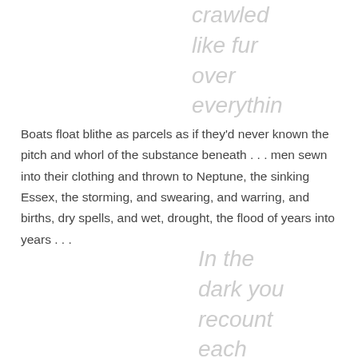crawled
like fur
over
everythin
Boats float blithe as parcels as if they'd never known the pitch and whorl of the substance beneath . . . men sewn into their clothing and thrown to Neptune, the sinking Essex, the storming, and swearing, and warring, and births, dry spells, and wet, drought, the flood of years into years . . .
In the
dark you
recount
each
death